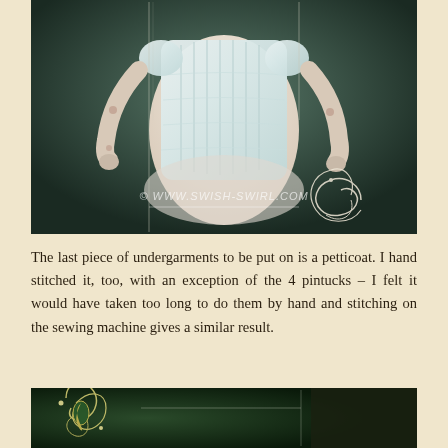[Figure (photo): Close-up photograph of a ball-jointed doll (BJD) wearing a white knit corset-style top with vertical pintuck details and short sleeves. The doll has articulated arms visible. A watermark reads '© WWW.SWISH-SWIRL.COM'. Decorative swirl ornament visible on right side of image.]
The last piece of undergarments to be put on is a petticoat. I hand stitched it, too, with an exception of the 4 pintucks – I felt it would have taken too long to do them by hand and stitching on the sewing machine gives a similar result.
[Figure (photo): Bottom portion of another photograph showing a dark background with a decorative swirl/fleur-de-lis ornament in light color on the left side, and what appears to be fabric or clothing item on the right.]